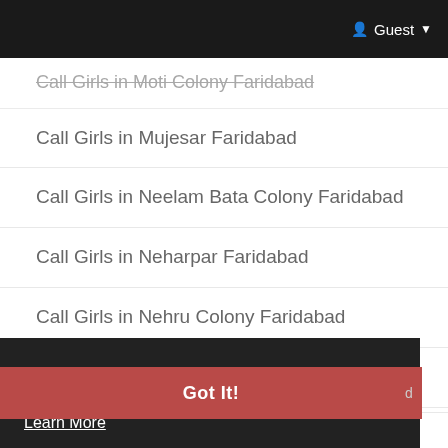Guest
Call Girls in Moti Colony Faridabad
Call Girls in Mujesar Faridabad
Call Girls in Neelam Bata Colony Faridabad
Call Girls in Neharpar Faridabad
Call Girls in Nehru Colony Faridabad
Call Girls in New Baselwa Colony Faridabad
Call Girls in New Colony Faridabad
This website uses cookies to ensure you get the best experience on our website. Learn More
Got It!
Call Girls in New Industrial Township 4 Faridabad